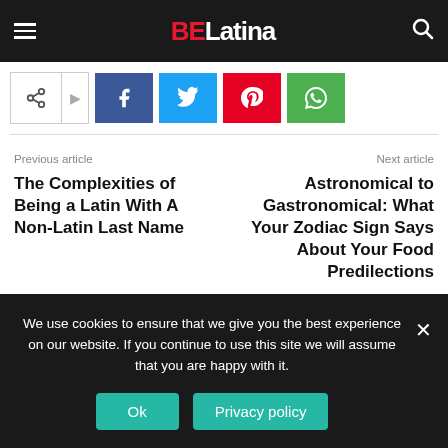BE Latina
[Figure (screenshot): Social share buttons: share icon, Facebook, Twitter, Pinterest, WhatsApp]
Previous article
The Complexities of Being a Latin With A Non-Latin Last Name
Next article
Astronomical to Gastronomical: What Your Zodiac Sign Says About Your Food Predilections
We use cookies to ensure that we give you the best experience on our website. If you continue to use this site we will assume that you are happy with it.